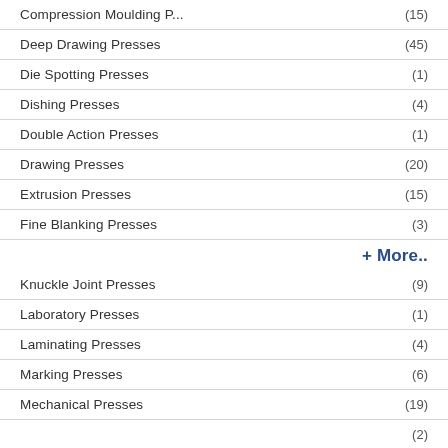Compression Moulding P... (15)
Deep Drawing Presses (45)
Die Spotting Presses (1)
Dishing Presses (4)
Double Action Presses (1)
Drawing Presses (20)
Extrusion Presses (15)
Fine Blanking Presses (3)
+ More..
Knuckle Joint Presses (9)
Laboratory Presses (1)
Laminating Presses (4)
Marking Presses (6)
Mechanical Presses (19)
... (2)